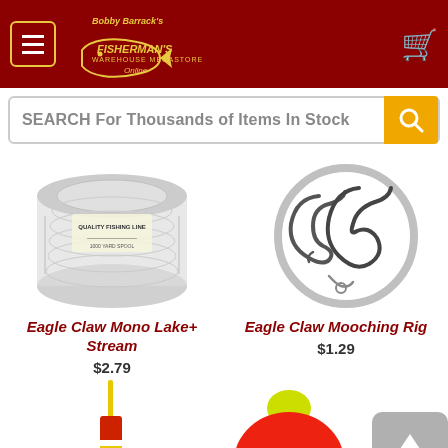[Figure (screenshot): Bobby Barrack's Fisherman's Warehouse Megastore Online logo on dark red header with hamburger menu and cart icon]
SEARCH For Thousands of Items In Stock
[Figure (photo): Spool of clear fishing line - Eagle Claw Mono Lake+ Stream]
[Figure (photo): Eagle Claw Mooching Rig fishing hooks]
Eagle Claw Mono Lake+ Stream
$2.79
Eagle Claw Mooching Rig
$1.29
[Figure (photo): Yellow and red pencil fishing float/bobber]
[Figure (photo): Red fishing float/bobber with yellow top, partially visible]